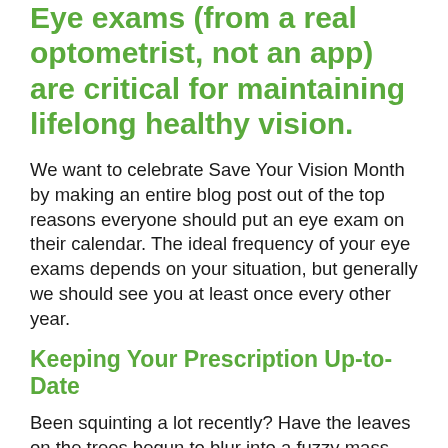Eye exams (from a real optometrist, not an app) are critical for maintaining lifelong healthy vision.
We want to celebrate Save Your Vision Month by making an entire blog post out of the top reasons everyone should put an eye exam on their calendar. The ideal frequency of your eye exams depends on your situation, but generally we should see you at least once every other year.
Keeping Your Prescription Up-to-Date
Been squinting a lot recently? Have the leaves on the trees begun to blur into a fuzzy mass again? Has it been harder and harder to read distant billboards or small font sizes? It's probably time to update your glasses or contact lens prescription. There's no reason to put up with a lack of sharp detail in your life; get that